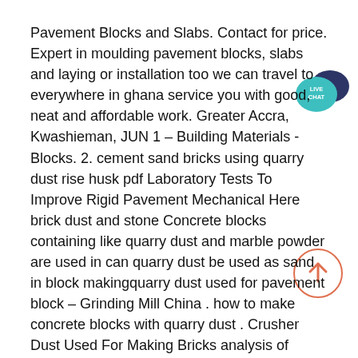Pavement Blocks and Slabs. Contact for price. Expert in moulding pavement blocks, slabs and laying or installation too we can travel to everywhere in ghana service you with good, neat and affordable work. Greater Accra, Kwashieman, JUN 1 – Building Materials - Blocks. 2. cement sand bricks using quarry dust rise husk pdf Laboratory Tests To Improve Rigid Pavement Mechanical Here brick dust and stone Concrete blocks containing like quarry dust and marble powder are used in can quarry dust be used as sand in block makingquarry dust used for pavement block – Grinding Mill China . how to make concrete blocks with quarry dust . Crusher Dust Used For Making Bricks analysis of quarry rock dust in concreteratio of quarry dust to cement for paving bricks crushed stone dust cement blocks The use of quarry dust in concrete is desirable because of its Oalib search... Physical properties of compressed earth blocks reinforced with for pavement construction.. The for
[Figure (illustration): Live Chat speech bubble button — teal/navy colored speech bubble with 'LIVE CHAT' text in white]
[Figure (illustration): Scroll-to-top button — circle with orange upward arrow and orange border]